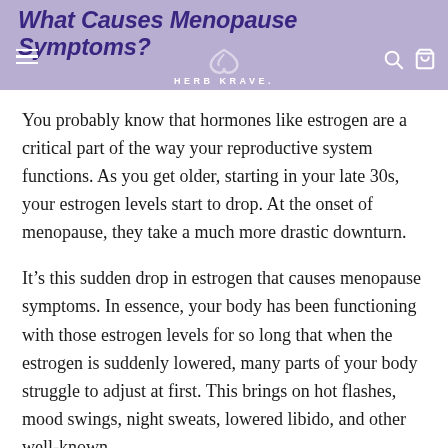What Causes Menopause Symptoms?
You probably know that hormones like estrogen are a critical part of the way your reproductive system functions. As you get older, starting in your late 30s, your estrogen levels start to drop. At the onset of menopause, they take a much more drastic downturn.
It’s this sudden drop in estrogen that causes menopause symptoms. In essence, your body has been functioning with those estrogen levels for so long that when the estrogen is suddenly lowered, many parts of your body struggle to adjust at first. This brings on hot flashes, mood swings, night sweats, lowered libido, and other well-known